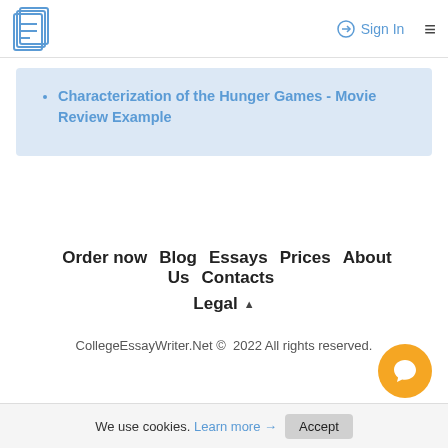Sign In
Characterization of the Hunger Games - Movie Review Example
Order now  Blog  Essays  Prices  About Us  Contacts  Legal
CollegeEssayWriter.Net © 2022 All rights reserved.
We use cookies. Learn more → Accept